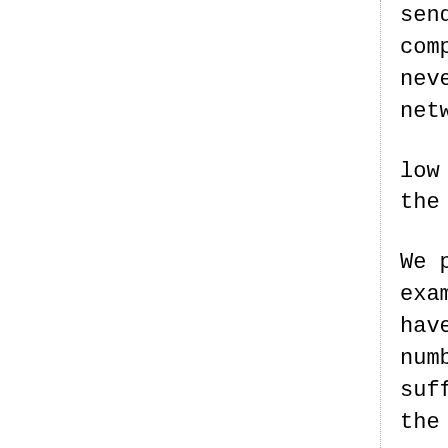sender to tell which segm... complicates the re-transmi... never compress small amoun... network; it trades a scar...
low bandwidth networks, se... the SACK option should be...
We propose two solutions f... examine its list of out-of... have been dropped, and NAK... number of NAKs should be l... sufficient. Note that the ... the sender about what pack... case, the NAKs are simply ... correctness.
Our second proposed modif... the TCP header from 4 bits... header, which allows us to... transmission algorithm p...